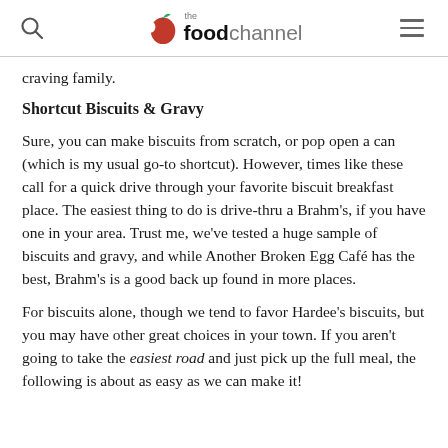the food channel
craving family.
Shortcut Biscuits & Gravy
Sure, you can make biscuits from scratch, or pop open a can (which is my usual go-to shortcut). However, times like these call for a quick drive through your favorite biscuit breakfast place. The easiest thing to do is drive-thru a Brahm's, if you have one in your area. Trust me, we've tested a huge sample of biscuits and gravy, and while Another Broken Egg Café has the best, Brahm's is a good back up found in more places.
For biscuits alone, though we tend to favor Hardee's biscuits, but you may have other great choices in your town. If you aren't going to take the easiest road and just pick up the full meal, the following is about as easy as we can make it!